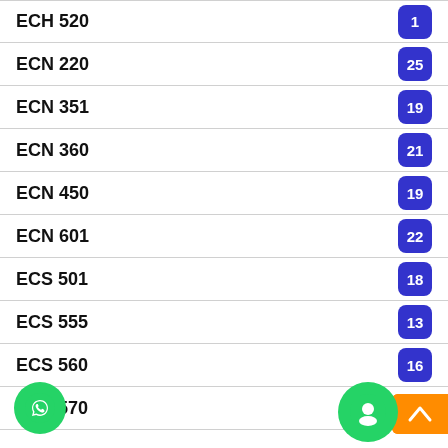ECH 520
ECN 220
ECN 351
ECN 360
ECN 450
ECN 601
ECS 501
ECS 555
ECS 560
ECS 570